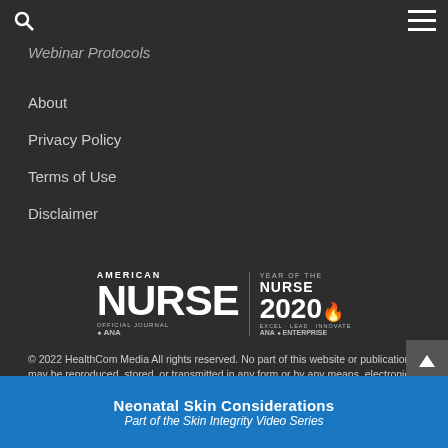Webinar Protocols
About
Privacy Policy
Terms of Use
Disclaimer
[Figure (logo): American Nurse official journal of ANA logo with Year of the Nurse 2020 ANA Enterprise badge]
© 2022 HealthCom Media All rights reserved. No part of this website or publication may be reproduced, stored, or transmitted in any form or by any means, electronic or mechanical, including photocopy, recording, or any information storage and retrieval system without permission from the copyright holder.
[Figure (infographic): Neonatal Skin Considerations – Part of the Skin Integrity Video Series advertisement banner]